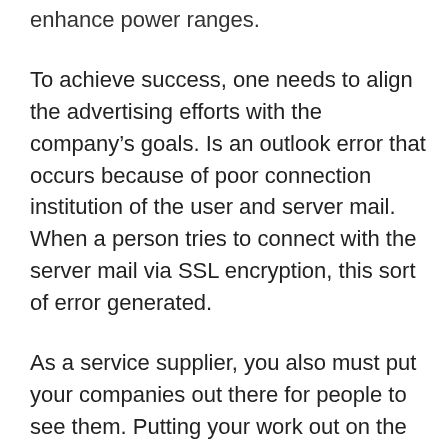enhance power ranges.
To achieve success, one needs to align the advertising efforts with the company’s goals. Is an outlook error that occurs because of poor connection institution of the user and server mail. When a person tries to connect with the server mail via SSL encryption, this sort of error generated.
As a service supplier, you also must put your companies out there for people to see them. Putting your work out on the internet helps you get the visibility and connectivity you need to succeed available within the market. Aside from being centered on written content material, artistic marketing may additionally be utilized to create stunning banner adverts. This approach can be carried out by collaborating with the advertising staff to create a cohesive visual concept. Creative advertising services can help